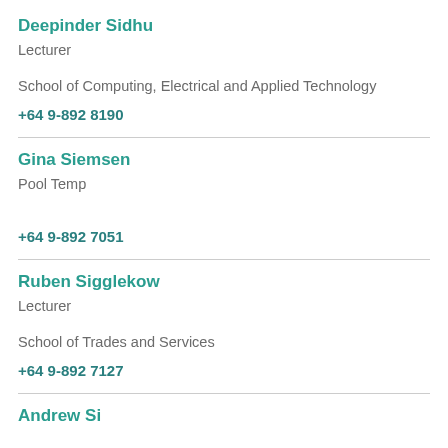Deepinder Sidhu
Lecturer
School of Computing, Electrical and Applied Technology
+64 9-892 8190
Gina Siemsen
Pool Temp
+64 9-892 7051
Ruben Sigglekow
Lecturer
School of Trades and Services
+64 9-892 7127
Andrew Si...